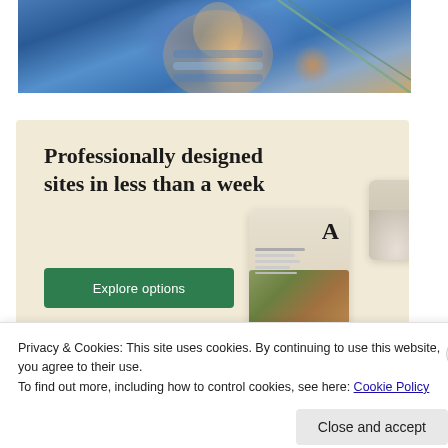[Figure (photo): A child in a blue striped long-sleeve shirt, smiling, with rope visible in the background, photo cropped at top]
[Figure (advertisement): Advertisement banner with beige/cream background reading 'Professionally designed sites in less than a week' with a green 'Explore options' button and mockup screenshots of website designs on the right]
Privacy & Cookies: This site uses cookies. By continuing to use this website, you agree to their use.
To find out more, including how to control cookies, see here: Cookie Policy
Close and accept